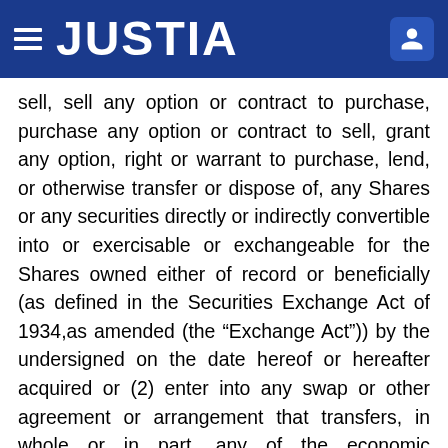JUSTIA
sell, sell any option or contract to purchase, purchase any option or contract to sell, grant any option, right or warrant to purchase, lend, or otherwise transfer or dispose of, any Shares or any securities directly or indirectly convertible into or exercisable or exchangeable for the Shares owned either of record or beneficially (as defined in the Securities Exchange Act of 1934,as amended (the “Exchange Act”)) by the undersigned on the date hereof or hereafter acquired or (2) enter into any swap or other agreement or arrangement that transfers, in whole or in part, any of the economic consequences of ownership of the Shares, whether any such transaction described in clause (1) or (2) above is to be settled by delivery of Shares or such other securities, in cash or